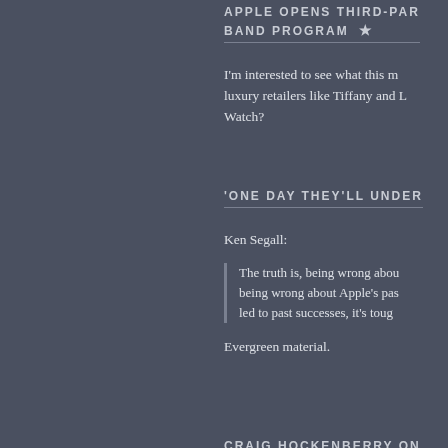APPLE OPENS THIRD-PAR… BAND PROGRAM ★
I'm interested to see what this m… luxury retailers like Tiffany and L… Watch?
'ONE DAY THEY'LL UNDER…
Ken Segall:
The truth is, being wrong abou… being wrong about Apple's pas… led to past successes, it's toug…
Evergreen material.
CRAIG HOCKENBERRY ON…